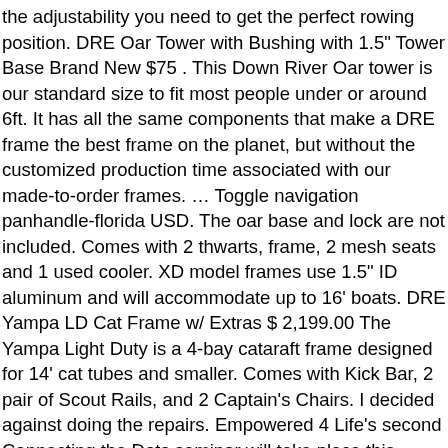the adjustability you need to get the perfect rowing position. DRE Oar Tower with Bushing with 1.5" Tower Base Brand New $75 . This Down River Oar tower is our standard size to fit most people under or around 6ft. It has all the same components that make a DRE frame the best frame on the planet, but without the customized production time associated with our made-to-order frames. ... Toggle navigation panhandle-florida USD. The oar base and lock are not included. Comes with 2 thwarts, frame, 2 mesh seats and 1 used cooler. XD model frames use 1.5" ID aluminum and will accommodate up to 16' boats. DRE Yampa LD Cat Frame w/ Extras $ 2,199.00 The Yampa Light Duty is a 4-bay cataraft frame designed for 14' cat tubes and smaller. Comes with Kick Bar, 2 pair of Scout Rails, and 2 Captain's Chairs. I decided against doing the repairs. Empowered 4 Life's second Connecting the Dots seminar will take place this Saturday at the Wadsworth Auditorium. Shop today! DRE Raft Frame Oar Tower with Bushing with 1.5" tower base - $75 < image 1 of 3 > make / manufacturer: Down River Equipment. DRE Oar Towers - $70 (Steamboat) I have a pair of DRE 1.25" Oar Towers that have a